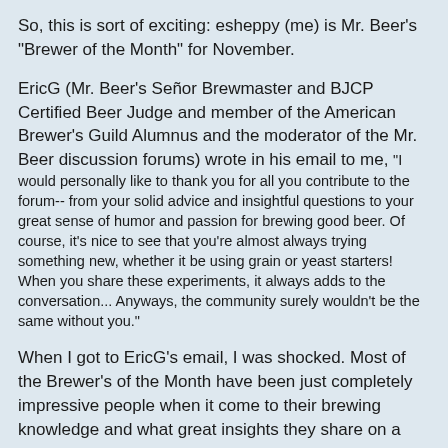So, this is sort of exciting: esheppy (me) is Mr. Beer's "Brewer of the Month" for November.
EricG (Mr. Beer's Señor Brewmaster and BJCP Certified Beer Judge and member of the American Brewer's Guild Alumnus and the moderator of the Mr. Beer discussion forums) wrote in his email to me, "I would personally like to thank you for all you contribute to the forum-- from your solid advice and insightful questions to your great sense of humor and passion for brewing good beer. Of course, it's nice to see that you're almost always trying something new, whether it be using grain or yeast starters! When you share these experiments, it always adds to the conversation... Anyways, the community surely wouldn't be the same without you."
When I got to EricG's email, I was shocked. Most of the Brewer's of the Month have been just completely impressive people when it come to their brewing knowledge and what great insights they share on a consistent basis. And, there are several people on the forum who I could think of off the top of my head who I think are more deserving of the honor than I. I do agree with EricG that I ask good questions and